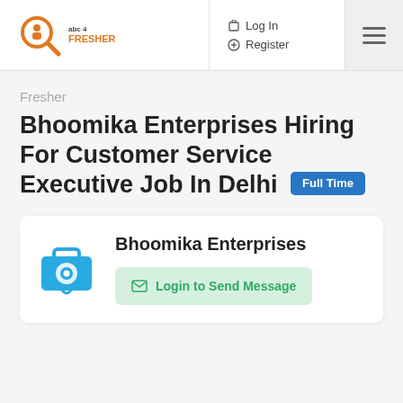Log In   Register
Fresher
Bhoomika Enterprises Hiring For Customer Service Executive Job In Delhi   Full Time
Bhoomika Enterprises
Login to Send Message